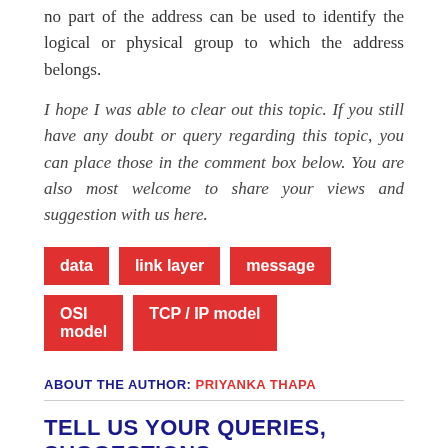no part of the address can be used to identify the logical or physical group to which the address belongs.
I hope I was able to clear out this topic. If you still have any doubt or query regarding this topic, you can place those in the comment box below. You are also most welcome to share your views and suggestion with us here.
data
link layer
message
OSI model
TCP / IP model
ABOUT THE AUTHOR: PRIYANKA THAPA
TELL US YOUR QUERIES, SUGGESTIONS